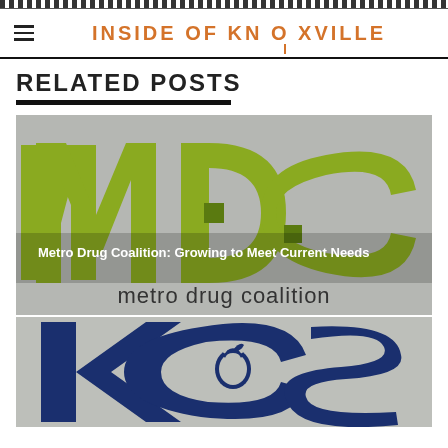INSIDE OF KNOXVILLE
RELATED POSTS
[Figure (logo): Metro Drug Coalition (MDC) logo on grey background with olive green letters M, D, C and text 'metro drug coalition'. Overlay text: 'Metro Drug Coalition: Growing to Meet Current Needs']
[Figure (logo): KCS logo on grey background showing large dark blue letters KCS with an apple icon]